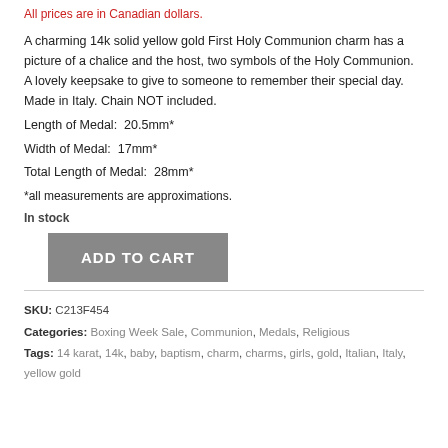All prices are in Canadian dollars.
A charming 14k solid yellow gold First Holy Communion charm has a picture of a chalice and the host, two symbols of the Holy Communion. A lovely keepsake to give to someone to remember their special day. Made in Italy. Chain NOT included.
Length of Medal:  20.5mm*
Width of Medal:  17mm*
Total Length of Medal:  28mm*
*all measurements are approximations.
In stock
ADD TO CART
SKU: C213F454
Categories: Boxing Week Sale, Communion, Medals, Religious
Tags: 14 karat, 14k, baby, baptism, charm, charms, girls, gold, Italian, Italy, yellow gold